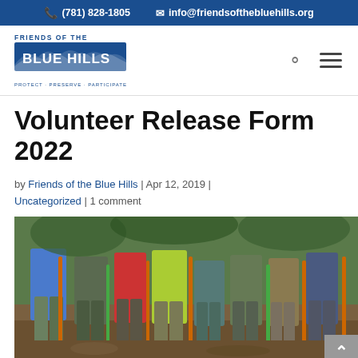(781) 828-1805  info@friendsofthebluehills.org
[Figure (logo): Friends of the Blue Hills logo with text FRIENDS OF THE BLUE HILLS and tagline PROTECT · PRESERVE · PARTICIPATE]
Volunteer Release Form 2022
by Friends of the Blue Hills | Apr 12, 2019 | Uncategorized | 1 comment
[Figure (photo): Group of volunteers standing with shovels and trail tools on a dirt trail in a wooded area]